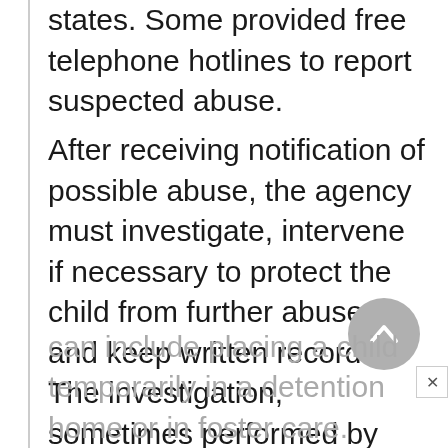states. Some provided free telephone hotlines to report suspected abuse.
After receiving notification of possible abuse, the agency must investigate, intervene if necessary to protect the child from further abuse, and keep written records. The investigation, sometimes performed by the police, includes interviews with the child, parents, doctors, and teachers. Agency intervention or involvement can include placing a child temporarily in a detention home or in foster care.